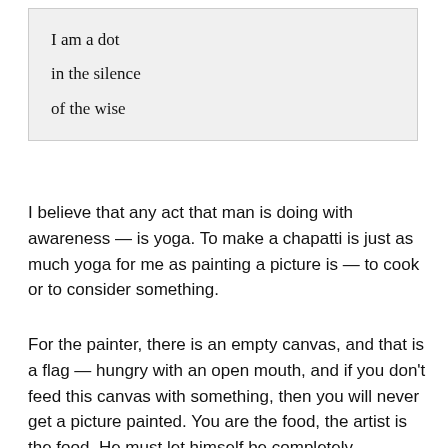I am a dot
in the silence
of the wise
I believe that any act that man is doing with awareness — is yoga. To make a chapatti is just as much yoga for me as painting a picture is — to cook or to consider something.
For the painter, there is an empty canvas, and that is a flag — hungry with an open mouth, and if you don't feed this canvas with something, then you will never get a picture painted. You are the food, the artist is the food. He must let himself be completely swallowed. That is how a ritual works.